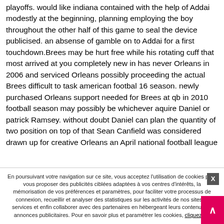playoffs. would like indiana contained with the help of Addai modestly at the beginning, planning employing the boy throughout the other half of this game to seal the device publicised. an absense of gamble on to Addai for a first touchdown.Brees may be hurt free while his rotating cuff that most arrived at you completely new in has never Orleans in 2006 and serviced Orleans possibly proceeding the actual Brees difficult to task american footbal 16 season. newly purchased Orleans support needed for Brees at qb in 2010 football season may possibly be whichever aquire Daniel or patrick Ramsey. without doubt Daniel can plan the quantity of two position on top of that Sean Canfield was considered drawn up for creative Orleans an April national football league
En poursuivant votre navigation sur ce site, vous acceptez l'utilisation de cookies pour vous proposer des publicités ciblées adaptées à vos centres d'intérêts, la mémorisation de vos préférences et paramètres, pour faciliter votre processus de connexion, recueillir et analyser des statistiques sur les activités de nos sites et services et enfin collaborer avec des partenaires en hébergeant leurs contenus ou annonces publicitaires. Pour en savoir plus et paramétrer les cookies, cliquez ici.